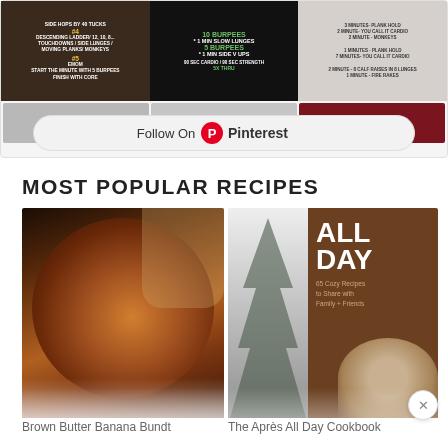[Figure (screenshot): Pinterest follow widget and workout images at the top of a food/lifestyle blog page]
MOST POPULAR RECIPES
[Figure (photo): Brown butter banana bundt cake — a golden-brown bundt cake being pulled apart by a hand, dusted with sugar, on a wire rack]
[Figure (photo): The Apres All Day Cookbook cover — book cover showing snowy pine trees and a bowl of colorful food, with text 'ALL DAY 65 Cozy Recipes to Share with Family + Friends']
Brown Butter Banana Bundt
The Après All Day Cookbook